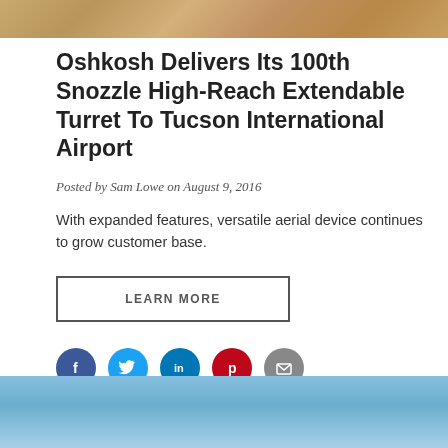[Figure (photo): Top decorative banner image with sandy/earthy tan and brown tones]
Oshkosh Delivers Its 100th Snozzle High-Reach Extendable Turret To Tucson International Airport
Posted by Sam Lowe on August 9, 2016
With expanded features, versatile aerial device continues to grow customer base.
LEARN MORE
[Figure (infographic): Social media sharing icons: Facebook (blue circle), Twitter (light blue circle), LinkedIn (blue circle), Pinterest (red circle), Email (grey circle)]
[Figure (photo): Bottom portion of a blue sky photo, gradient from light blue to slightly darker blue]